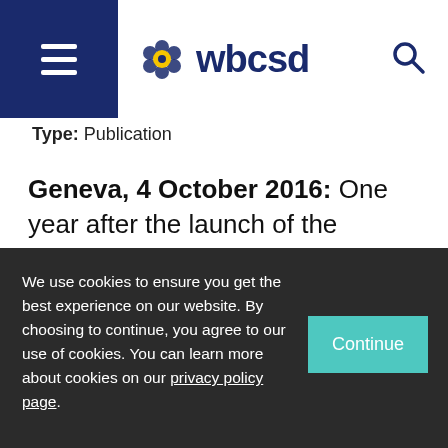WBCSD - World Business Council for Sustainable Development
Type: Publication
Geneva, 4 October 2016: One year after the launch of the Sustainable Development Goals (SDGs), the 2016 edition of Reporting matters, by the World Business Council for Sustainable Development
We use cookies to ensure you get the best experience on our website. By choosing to continue, you agree to our use of cookies. You can learn more about cookies on our privacy policy page.